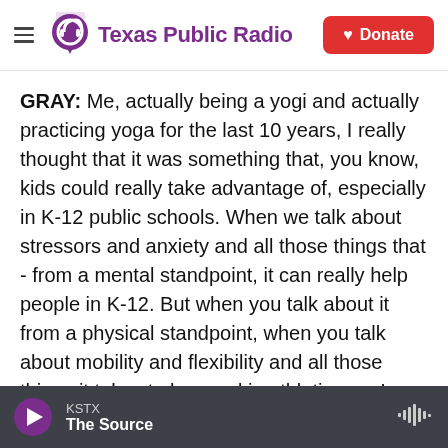Texas Public Radio | Donate
GRAY: Me, actually being a yogi and actually practicing yoga for the last 10 years, I really thought that it was something that, you know, kids could really take advantage of, especially in K-12 public schools. When we talk about stressors and anxiety and all those things that - from a mental standpoint, it can really help people in K-12. But when you talk about it from a physical standpoint, when you talk about mobility and flexibility and all those things it takes to be good in athletics, so I really thought it had more pros than cons. And I originally brought the bill because I was attending a high school to talk about my position as a lawmaker. And I was
KSTX | The Source